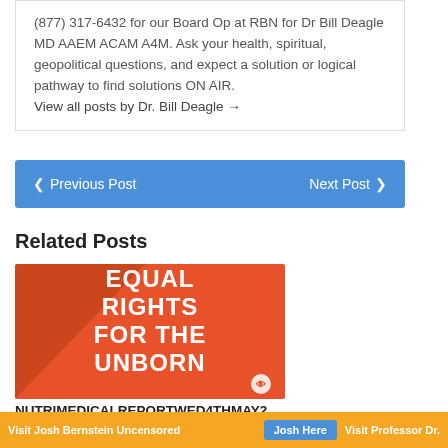(877) 317-6432 for our Board Op at RBN for Dr Bill Deagle MD AAEM ACAM A4M. Ask your health, spiritual, geopolitical questions, and expect a solution or logical pathway to find solutions ON AIR.
View all posts by Dr. Bill Deagle →
❮ Previous Post    Next Post ❯
Related Posts
[Figure (illustration): Orange background image with bold white text reading EQUAL RIGHTS FOR THE UNBORN with a dark shadow diagonal overlay and small circular logo at bottom right]
NUTRIMEDICALREPORTWED4THMAY22H2 CHRISTIAN PRO UNBORN D...
Visit Josh Bernstein Uncensored   Josh Here   Visit Professor Dr...